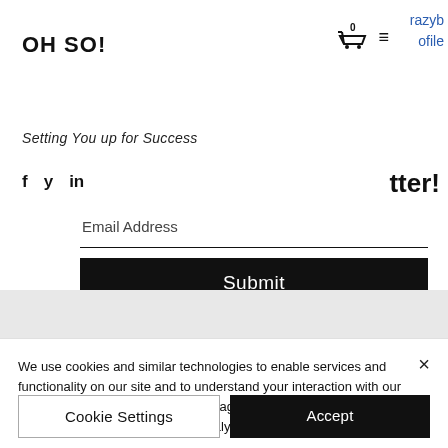OH SO!
razyb
ofile
Setting You up for Success
f  y  in
tter!
Email Address
Submit
We use cookies and similar technologies to enable services and functionality on our site and to understand your interaction with our service. By clicking on accept, you agree to our use of such technologies for marketing and analytics. See Privacy Policy
Cookie Settings
Accept